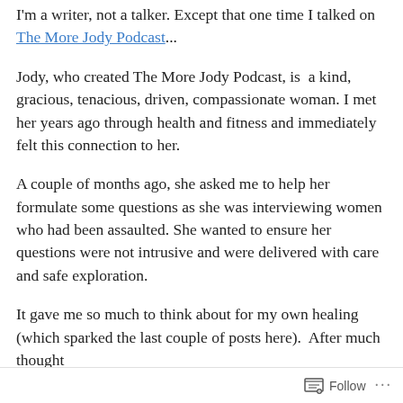I'm a writer, not a talker. Except that one time I talked on The More Jody Podcast...
Jody, who created The More Jody Podcast, is  a kind, gracious, tenacious, driven, compassionate woman. I met her years ago through health and fitness and immediately felt this connection to her.
A couple of months ago, she asked me to help her formulate some questions as she was interviewing women who had been assaulted. She wanted to ensure her questions were not intrusive and were delivered with care and safe exploration.
It gave me so much to think about for my own healing (which sparked the last couple of posts here).  After much thought
Follow ...